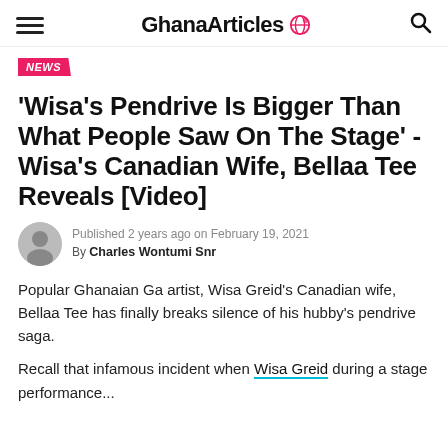GhanaArticles
NEWS
'Wisa's Pendrive Is Bigger Than What People Saw On The Stage' - Wisa's Canadian Wife, Bellaa Tee Reveals [Video]
Published 2 years ago on February 19, 2021
By Charles Wontumi Snr
Popular Ghanaian Ga artist, Wisa Greid's Canadian wife, Bellaa Tee has finally breaks silence of his hubby's pendrive saga.
Recall that infamous incident when Wisa Greid during a stage performance...